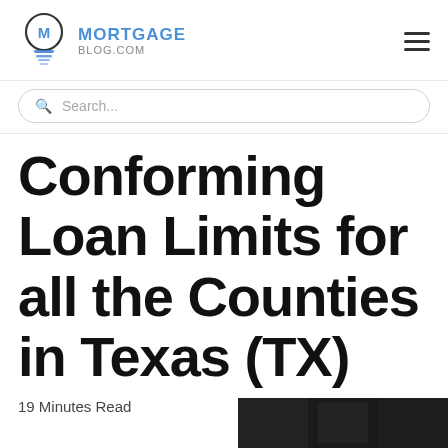MORTGAGE BLOG.COM
Search...
Conforming Loan Limits for all the Counties in Texas (TX)
19 Minutes Read
[Figure (photo): Dark image partially visible at bottom right corner of the page]